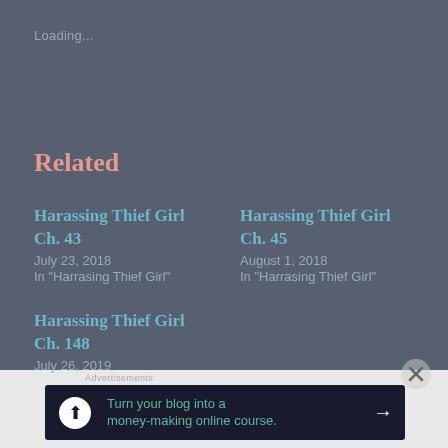Loading...
Related
Harassing Thief Girl Ch. 43
July 23, 2018
In "Harrasing Thief Girl"
Harassing Thief Girl Ch. 45
August 1, 2018
In "Harrasing Thief Girl"
Harassing Thief Girl Ch. 148
July 26, 2019
[Figure (infographic): Advertisement banner: Turn your blog into a money-making online course.]
Advertisements